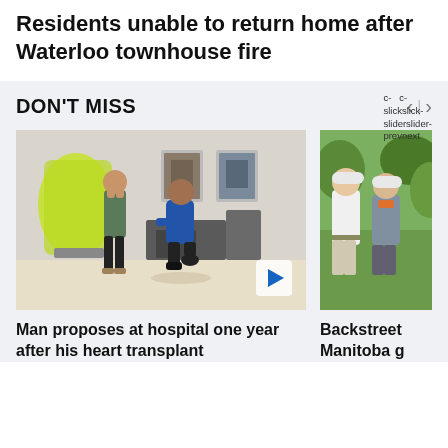Residents unable to return home after Waterloo townhouse fire
DON'T MISS
[Figure (photo): Man kneeling and proposing to woman inside a hospital lobby with framed portraits on wall and green display in background]
Man proposes at hospital one year after his heart transplant
[Figure (photo): Two men in golf attire standing outdoors with trees in background]
Backstreet Manitoba g